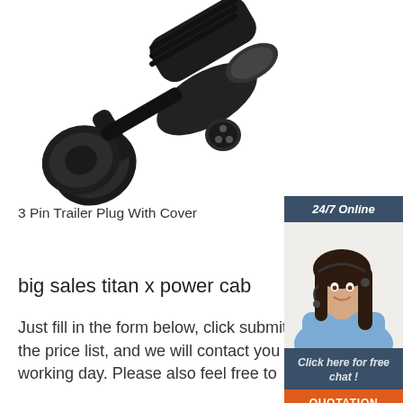[Figure (photo): Black 3-pin trailer plug with cover — electrical connector shown at an angle on white background]
[Figure (photo): 24/7 online chat widget showing a female customer service agent wearing a headset, with dark blue header reading '24/7 Online', text 'Click here for free chat!', and an orange 'QUOTATION' button]
3 Pin Trailer Plug With Cover
big sales titan x power cab
Just fill in the form below, click submit, you will get the price list, and we will contact you within one working day. Please also feel free to